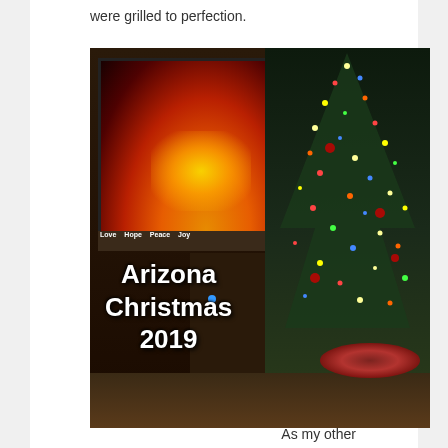were grilled to perfection.
[Figure (photo): Indoor Christmas scene showing a decorated Christmas tree on the right with colorful lights and ornaments, and a large TV on the wall displaying a fireplace/fire screensaver. A shelf below the TV has decorative words 'Love Hope Peace Joy'. Overlaid white bold text reads 'Arizona Christmas 2019'. The room has a wood floor and bookshelves visible in the background.]
As my other